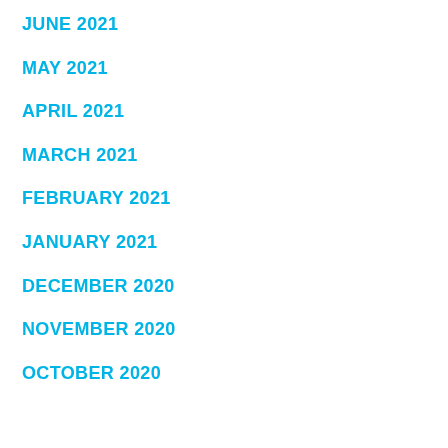JUNE 2021
MAY 2021
APRIL 2021
MARCH 2021
FEBRUARY 2021
JANUARY 2021
DECEMBER 2020
NOVEMBER 2020
OCTOBER 2020